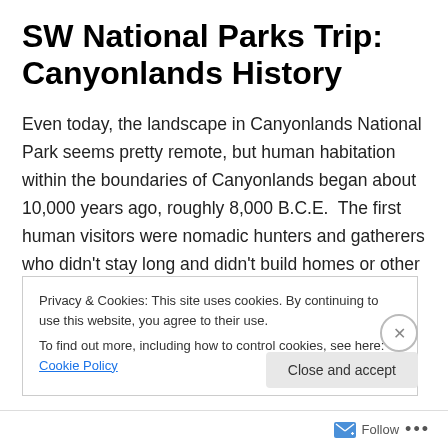SW National Parks Trip: Canyonlands History
Even today, the landscape in Canyonlands National Park seems pretty remote, but human habitation within the boundaries of Canyonlands began about 10,000 years ago, roughly 8,000 B.C.E.  The first human visitors were nomadic hunters and gatherers who didn't stay long and didn't build homes or other structures from stone, but they did leave rock art behind – fascinating works that
Privacy & Cookies: This site uses cookies. By continuing to use this website, you agree to their use.
To find out more, including how to control cookies, see here: Cookie Policy
Follow ...